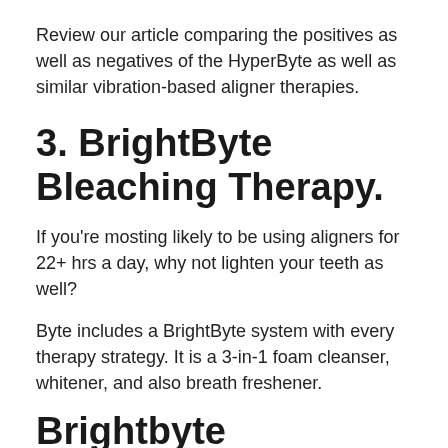Review our article comparing the positives as well as negatives of the HyperByte as well as similar vibration-based aligner therapies.
3. BrightByte Bleaching Therapy.
If you're mosting likely to be using aligners for 22+ hrs a day, why not lighten your teeth as well?
Byte includes a BrightByte system with every therapy strategy. It is a 3-in-1 foam cleanser, whitener, and also breath freshener.
Brightbyte